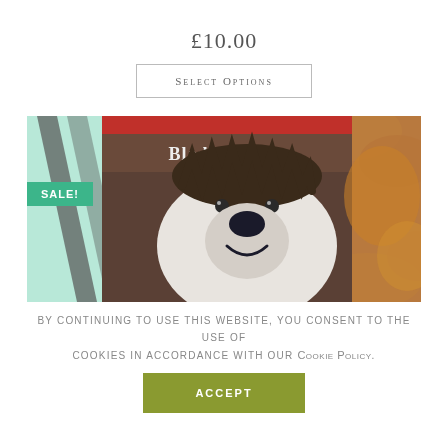£10.00
Select options
[Figure (photo): Close-up photograph of a child's legging or sock featuring a polar bear design with 'Blade & Rose' text at the top, displayed against a blurred autumn leaves background. A green 'SALE!' badge is overlaid on the left side.]
By continuing to use this website, you consent to the use of cookies in accordance with our Cookie Policy.
Accept